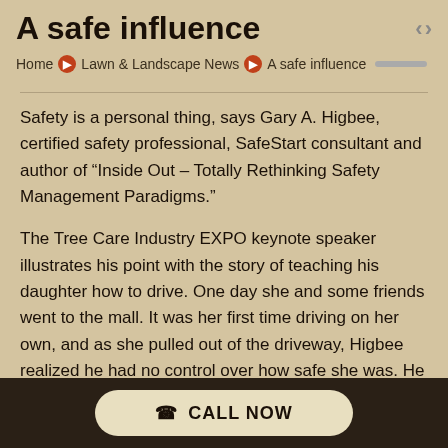A safe influence
Home > Lawn & Landscape News > A safe influence
Safety is a personal thing, says Gary A. Higbee, certified safety professional, SafeStart consultant and author of “Inside Out – Totally Rethinking Safety Management Paradigms.”
The Tree Care Industry EXPO keynote speaker illustrates his point with the story of teaching his daughter how to drive. One day she and some friends went to the mall. It was her first time driving on her own, and as she pulled out of the driveway, Higbee realized he had no control over how safe she was. He just had to hope that she listened and remembered everything he’d taught her.
“You have no control over your employees when it comes
CALL NOW